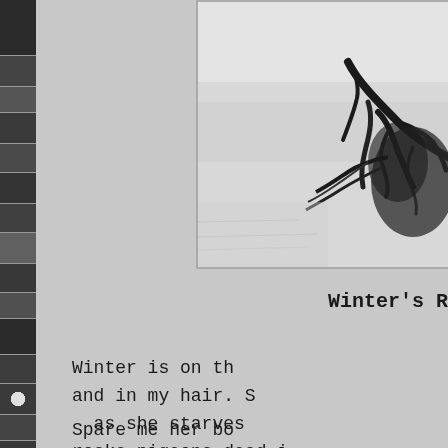[Figure (photo): Black and white aerial or landscape photograph showing a snowy or sandy terrain with dark branching patterns resembling river deltas or shadows, with light sky or ground in upper portion]
Winter's R
Winter is on th
and in my hair. S
as she starves
rocks pigeons dead i
Spare me her bo